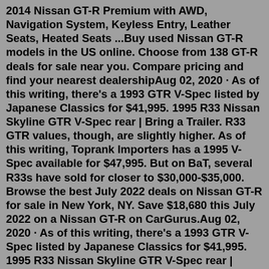2014 Nissan GT-R Premium with AWD, Navigation System, Keyless Entry, Leather Seats, Heated Seats ...Buy used Nissan GT-R models in the US online. Choose from 138 GT-R deals for sale near you. Compare pricing and find your nearest dealershipAug 02, 2020 · As of this writing, there's a 1993 GTR V-Spec listed by Japanese Classics for $41,995. 1995 R33 Nissan Skyline GTR V-Spec rear | Bring a Trailer. R33 GTR values, though, are slightly higher. As of this writing, Toprank Importers has a 1995 V-Spec available for $47,995. But on BaT, several R33s have sold for closer to $30,000-$35,000. Browse the best July 2022 deals on Nissan GT-R for sale in New York, NY. Save $18,680 this July 2022 on a Nissan GT-R on CarGurus.Aug 02, 2020 · As of this writing, there's a 1993 GTR V-Spec listed by Japanese Classics for $41,995. 1995 R33 Nissan Skyline GTR V-Spec rear | Bring a Trailer. R33 GTR values, though, are slightly higher. As of this writing, Toprank Importers has a 1995 V-Spec available for $47,995. But on BaT, several R33s have sold for closer